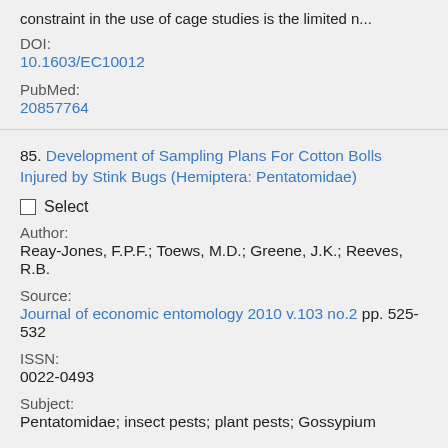constraint in the use of cage studies is the limited n...
DOI:
10.1603/EC10012
PubMed:
20857764
85. Development of Sampling Plans For Cotton Bolls Injured by Stink Bugs (Hemiptera: Pentatomidae)
Select
Author:
Reay-Jones, F.P.F.; Toews, M.D.; Greene, J.K.; Reeves, R.B.
Source:
Journal of economic entomology 2010 v.103 no.2 pp. 525-532
ISSN:
0022-0493
Subject:
Pentatomidae; insect pests; plant pests; Gossypium